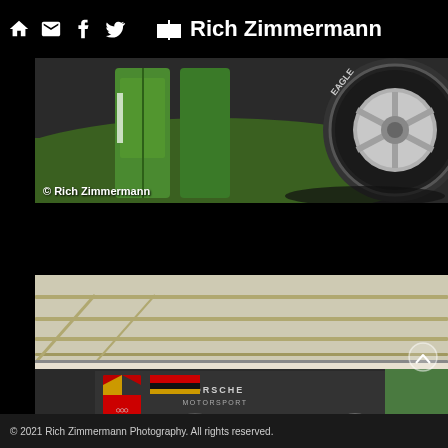Rich Zimmermann
[Figure (photo): Close-up photo of a person in green racing suit pants crouching near a large race car tire/wheel (Eagle branded). Shot in a pit/garage area. Copyright Rich Zimmermann.]
[Figure (photo): Photo showing a tent/canopy structure at a motorsport event with Porsche Motorsport branding visible on a transporter/truck. People visible in background. Scroll-up button overlay visible.]
© 2021 Rich Zimmermann Photography. All rights reserved.